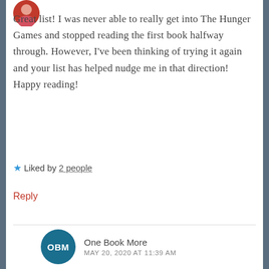[Figure (photo): Circular avatar image at top left, partially visible, showing a person with red/orange tones]
Great list! I was never able to really get into The Hunger Games and stopped reading the first book halfway through. However, I've been thinking of trying it again and your list has helped nudge me in that direction! Happy reading!
★ Liked by 2 people
Reply
[Figure (logo): Circular dark teal avatar with white letters OBM for One Book More]
One Book More
MAY 20, 2020 AT 11:39 AM
Nice! I hope you like it better this time around! 🙂